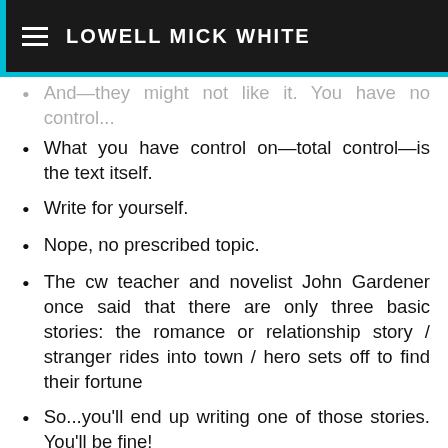LOWELL MICK WHITE
And—they might not like it. You have no control...
What you have control on—total control—is the text itself.
Write for yourself.
Nope, no prescribed topic.
The cw teacher and novelist John Gardener once said that there are only three basic stories: the romance or relationship story / stranger rides into town / hero sets off to find their fortune
So...you'll end up writing one of those stories. You'll be fine!
Nope. In fact, I wish more students would write horror.
Me, I'd just read the whole thing. It's short....
Yep, you do the readings and writing assignments outside, on your own. For